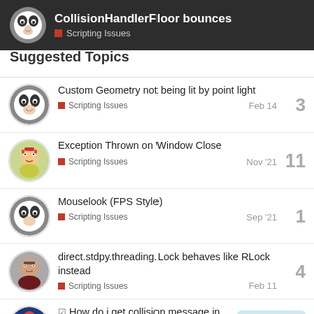CollisionHandlerFloor bounces — Scripting Issues
Suggested Topics
Custom Geometry not being lit by point light — Scripting Issues — Feb 14 — 3 replies
Exception Thrown on Window Close — Scripting Issues — Nov '21 — 11 replies
Mouselook (FPS Style) — Scripting Issues — Sep '21 — 1 reply
direct.stdpy.threading.Lock behaves like RLock instead — Scripting Issues — Feb 11 — 4 replies
How do i get collision message in bullet world — 2/2